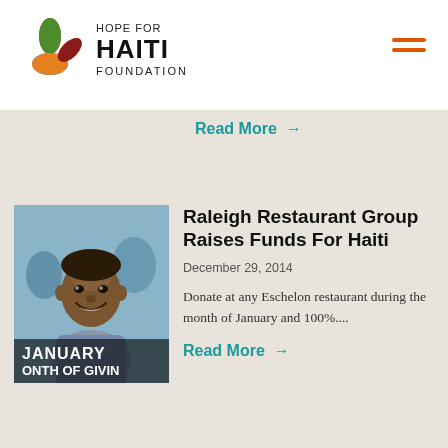[Figure (logo): Hope for Haiti Foundation star logo with colorful petals in red, teal, green, orange, and yellow]
HOPE FOR
HAITI
FOUNDATION
Read More →
[Figure (photo): Photo of a smiling Haitian child with overlay text reading JANUARY MONTH OF GIVING]
Raleigh Restaurant Group Raises Funds For Haiti
December 29, 2014
Donate at any Eschelon restaurant during the month of January and 100%....
Read More →